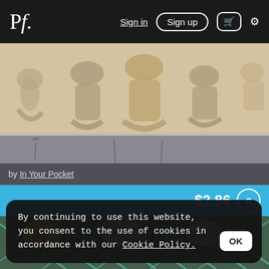Pf. Sign in  Sign up  🛒  ⚙
[Figure (photo): Photograph of a decorative relief sculpture with cream/tan figures on a light background, framed with a gray border beneath]
by In Your Pocket
$2.86 ©
[Figure (photo): Photograph of colorful Art Nouveau style pansy flower illustration with teal, pink, yellow and purple flowers]
By continuing to use this website, you consent to the use of cookies in accordance with our Cookie Policy.